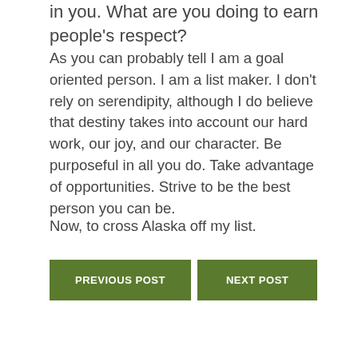in you. What are you doing to earn people's respect?
As you can probably tell I am a goal oriented person. I am a list maker. I don’t rely on serendipity, although I do believe that destiny takes into account our hard work, our joy, and our character. Be purposeful in all you do. Take advantage of opportunities. Strive to be the best person you can be.
Now, to cross Alaska off my list.
PREVIOUS POST    NEXT POST